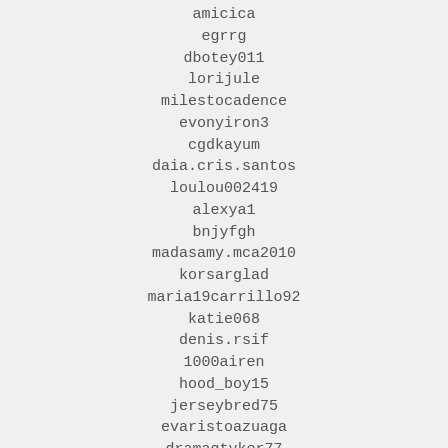amicica
egrrg
dbotey011
lorijule
milestocadence
evonyiron3
cgdkayum
daia.cris.santos
loulou002419
alexya1
bnjyfgh
madasamy.mca2010
korsarglad
maria19carrillo92
katie068
denis.rsif
1000airen
hood_boy15
jerseybred75
evaristoazuaga
dramaqtyker77
ashton.crystal
dragon_lewd91
kav-2262